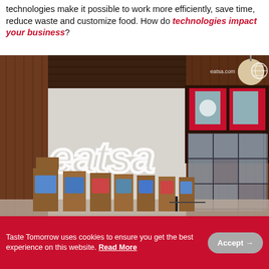technologies make it possible to work more efficiently, save time, reduce waste and customize food. How do technologies impact your business?
[Figure (photo): Interior of Eatsa restaurant showing self-order kiosks with wooden panels and screens in a row, and automated food pickup cubbies on the right wall. The Eatsa logo glows on the back wall. eatsa.com watermark in top right corner.]
Taste Tomorrow uses cookies to ensure you get the best experience on this website. Read More